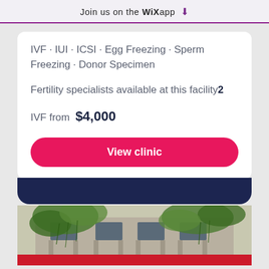Join us on the WiX app ⬇
IVF · IUI · ICSI · Egg Freezing · Sperm Freezing · Donor Specimen
Fertility specialists available at this facility 2
IVF from $4,000
View clinic
[Figure (photo): Exterior photograph of a clinic building with green trees/vines and windows visible]